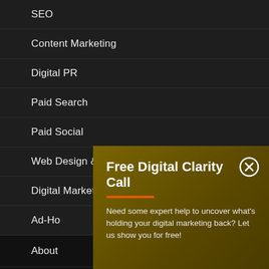SEO
Content Marketing
Digital PR
Paid Search
Paid Social
Web Design & Development
Digital Marketing Training
Ad-Ho[c]
About
Partne[rs]
[Figure (screenshot): Popup modal with dark golden/olive background. Title: 'Free Digital Clarity Call' with an orange underline. Close button (circled X) top right. Body text: 'Need some expert help to uncover what's holding your digital marketing back? Let us show you for free!']